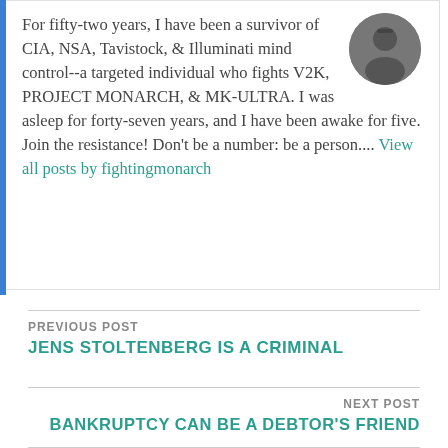For fifty-two years, I have been a survivor of CIA, NSA, Tavistock, & Illuminati mind control--a targeted individual who fights V2K, PROJECT MONARCH, & MK-ULTRA. I was asleep for forty-seven years, and I have been awake for five. Join the resistance! Don't be a number: be a person.... View all posts by fightingmonarch
PREVIOUS POST
JENS STOLTENBERG IS A CRIMINAL
NEXT POST
BANKRUPTCY CAN BE A DEBTOR'S FRIEND